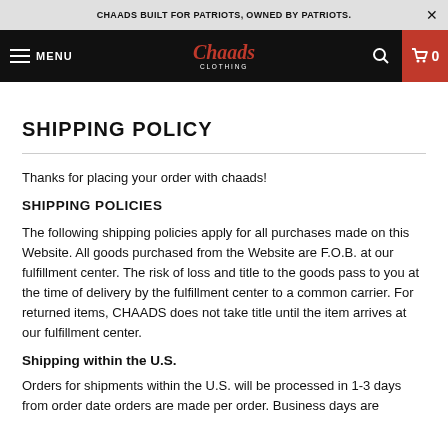CHAADS BUILT FOR PATRIOTS, OWNED BY PATRIOTS.
[Figure (screenshot): Chaads Clothing navigation bar with hamburger menu, logo, search icon, and cart icon (0 items)]
SHIPPING POLICY
Thanks for placing your order with chaads!
SHIPPING POLICIES
The following shipping policies apply for all purchases made on this Website. All goods purchased from the Website are F.O.B. at our fulfillment center. The risk of loss and title to the goods pass to you at the time of delivery by the fulfillment center to a common carrier. For returned items, CHAADS does not take title until the item arrives at our fulfillment center.
Shipping within the U.S.
Orders for shipments within the U.S. will be processed in 1-3 days from order date orders are made per order. Business days are